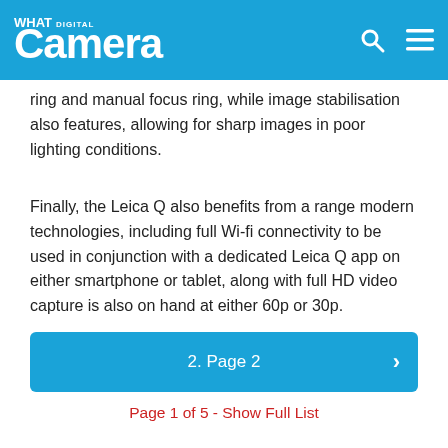What Digital Camera
ring and manual focus ring, while image stabilisation also features, allowing for sharp images in poor lighting conditions.
Finally, the Leica Q also benefits from a range modern technologies, including full Wi-fi connectivity to be used in conjunction with a dedicated Leica Q app on either smartphone or tablet, along with full HD video capture is also on hand at either 60p or 30p.
2. Page 2
Page 1 of 5 - Show Full List